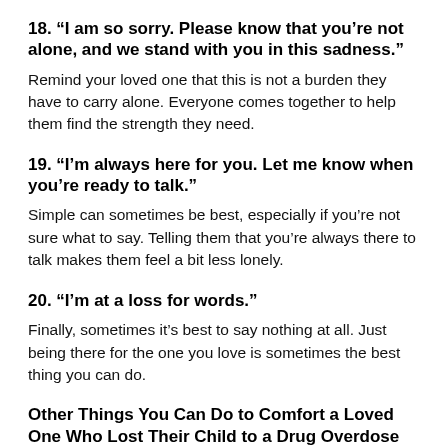18. “I am so sorry. Please know that you’re not alone, and we stand with you in this sadness.”
Remind your loved one that this is not a burden they have to carry alone. Everyone comes together to help them find the strength they need.
19. “I’m always here for you. Let me know when you’re ready to talk.”
Simple can sometimes be best, especially if you’re not sure what to say. Telling them that you’re always there to talk makes them feel a bit less lonely.
20. “I’m at a loss for words.”
Finally, sometimes it’s best to say nothing at all. Just being there for the one you love is sometimes the best thing you can do.
Other Things You Can Do to Comfort a Loved One Who Lost Their Child to a Drug Overdose